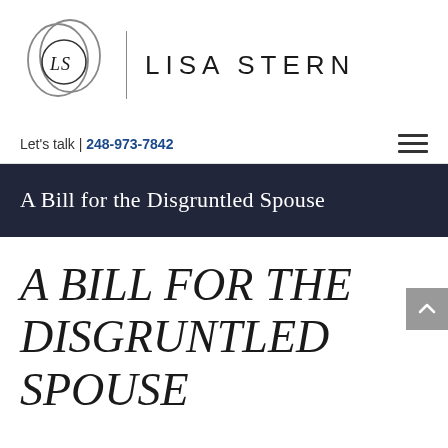[Figure (logo): Lisa Stern law firm logo: two overlapping circles with LS monogram inside, vertical dividing line, and LISA STERN text in spaced caps]
Let's talk | 248-973-7842
A Bill for the Disgruntled Spouse
A BILL FOR THE DISGRUNTLED SPOUSE